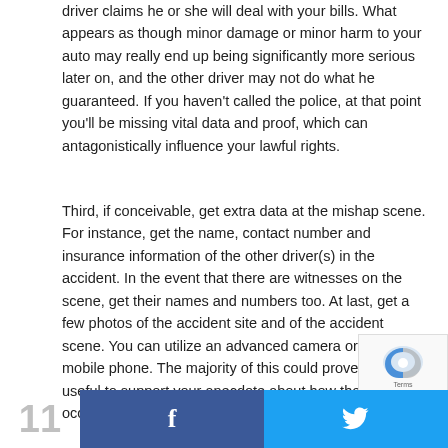driver claims he or she will deal with your bills. What appears as though minor damage or minor harm to your auto may really end up being significantly more serious later on, and the other driver may not do what he guaranteed. If you haven't called the police, at that point you'll be missing vital data and proof, which can antagonistically influence your lawful rights.
Third, if conceivable, get extra data at the mishap scene. For instance, get the name, contact number and insurance information of the other driver(s) in the accident. In the event that there are witnesses on the scene, get their names and numbers too. At last, get a few photos of the accident site and of the accident scene. You can utilize an advanced camera or your mobile phone. The majority of this could prove to be useful to support your anecdote about how the mishap occurred.
11